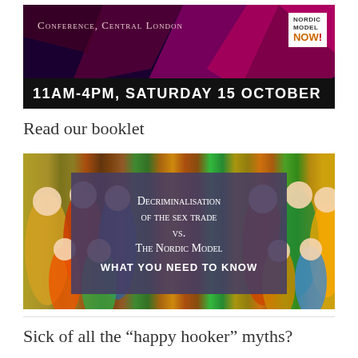[Figure (photo): Conference banner for Nordic Model Now with pink/dark background showing 'Conference, Central London' text, Nordic Model Now logo, and black bar reading '11am-4pm, Saturday 15 October']
Read our booklet
[Figure (photo): Booklet cover image showing Russian matryoshka dolls in background with a dark purple overlay box containing text: 'Decriminalisation of the sex trade vs. The Nordic Model - What you need to know']
Sick of all the “happy hooker” myths?